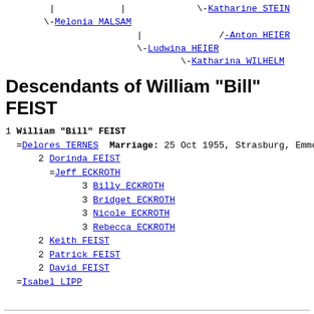| | \-Katharine STEIN
\-Melonia MALSAM
| /-Anton HEIER
\-Ludwina HEIER
\-Katharina WILHELM
Descendants of William "Bill" FEIST
1 William "Bill" FEIST
  =Delores TERNES  Marriage: 25 Oct 1955, Strasburg, Emmo
      2 Dorinda FEIST
        =Jeff ECKROTH
            3 Billy ECKROTH
            3 Bridget ECKROTH
            3 Nicole ECKROTH
            3 Rebecca ECKROTH
      2 Keith FEIST
      2 Patrick FEIST
      2 David FEIST
  =Isabel LIPP
Go To List Of Surnames
Family Tree Web Pages created using Ged2Web Version 3.38